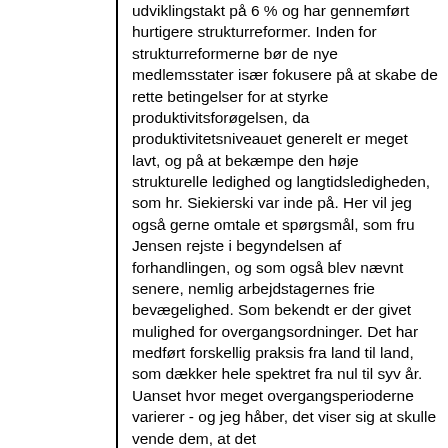udviklingstakt på 6 % og har gennemført hurtigere strukturreformer. Inden for strukturreformerne bør de nye medlemsstater især fokusere på at skabe de rette betingelser for at styrke produktivitsforøgelsen, da produktivitetsniveauet generelt er meget lavt, og på at bekæmpe den høje strukturelle ledighed og langtidsledigheden, som hr. Siekierski var inde på. Her vil jeg også gerne omtale et spørgsmål, som fru Jensen rejste i begyndelsen af forhandlingen, og som også blev nævnt senere, nemlig arbejdstagernes frie bevægelighed. Som bekendt er der givet mulighed for overgangsordninger. Det har medført forskellig praksis fra land til land, som dækker hele spektret fra nul til syv år. Uanset hvor meget overgangsperioderne varierer - og jeg håber, det viser sig at skulle vende dem, at det